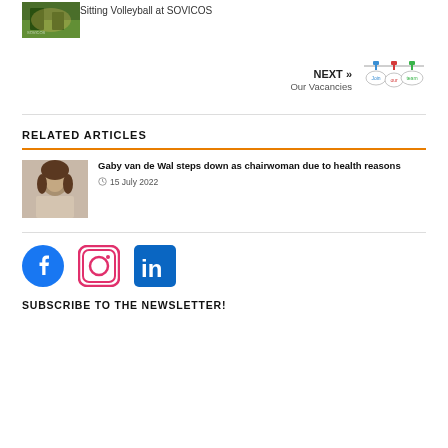[Figure (photo): Sports photo showing sitting volleyball players at SOVICOS]
Sitting Volleyball at SOVICOS
NEXT » Our Vacancies
[Figure (illustration): Join our team illustration with clothespins and speech bubbles]
RELATED ARTICLES
[Figure (photo): Portrait photo of Gaby van de Wal]
Gaby van de Wal steps down as chairwoman due to health reasons
15 July 2022
[Figure (logo): Facebook, Instagram, and LinkedIn social media icons]
SUBSCRIBE TO THE NEWSLETTER!